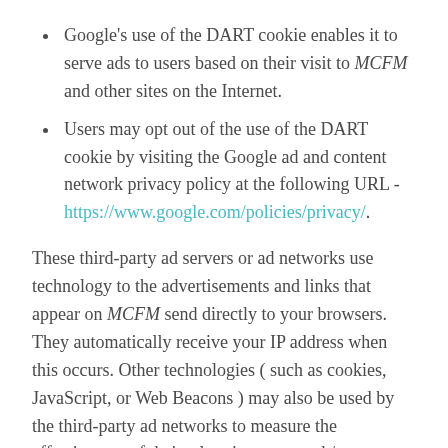Google's use of the DART cookie enables it to serve ads to users based on their visit to MCFM and other sites on the Internet.
Users may opt out of the use of the DART cookie by visiting the Google ad and content network privacy policy at the following URL - https://www.google.com/policies/privacy/.
These third-party ad servers or ad networks use technology to the advertisements and links that appear on MCFM send directly to your browsers. They automatically receive your IP address when this occurs. Other technologies ( such as cookies, JavaScript, or Web Beacons ) may also be used by the third-party ad networks to measure the effectiveness of their advertisements and / or to personalize the